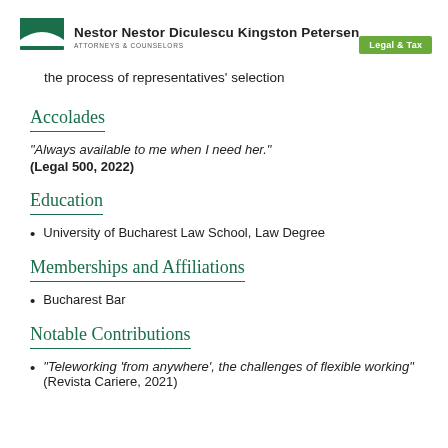Nestor Nestor Diculescu Kingston Petersen | ATTORNEYS & COUNSELORS | Legal & Tax
the process of representatives' selection
Accolades
“Always available to me when I need her.” (Legal 500, 2022)
Education
University of Bucharest Law School, Law Degree
Memberships and Affiliations
Bucharest Bar
Notable Contributions
“Teleworking ‘from anywhere’, the challenges of flexible working” (Revista Cariere, 2021)